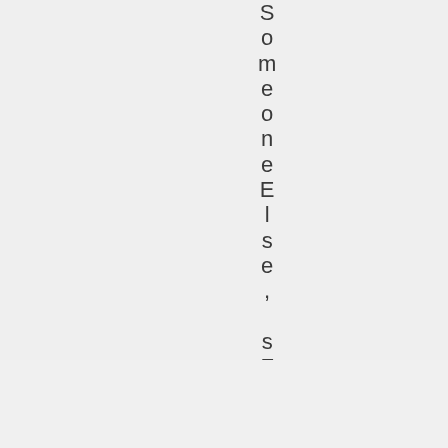SomeooneElse, sFau
Advertisements
[Figure (illustration): Seamless food delivery advertisement banner showing pizza slices on dark background with Seamless logo and ORDER NOW button]